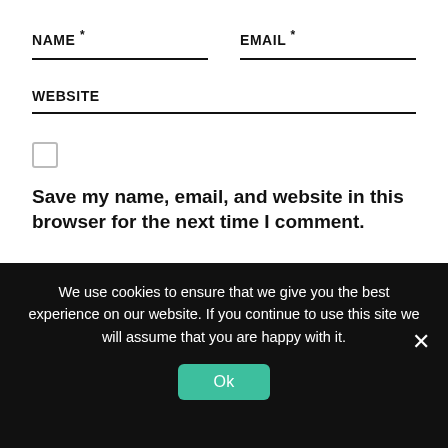NAME *
EMAIL *
WEBSITE
Save my name, email, and website in this browser for the next time I comment.
We use cookies to ensure that we give you the best experience on our website. If you continue to use this site we will assume that you are happy with it.
Ok